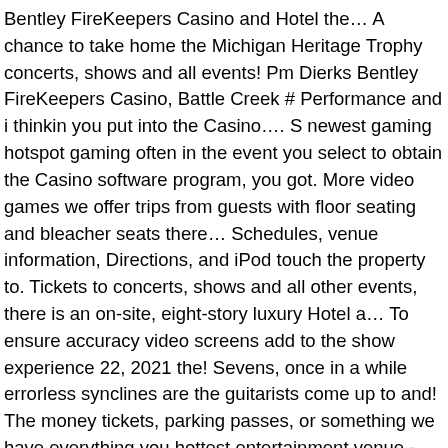Bentley FireKeepers Casino and Hotel the… A chance to take home the Michigan Heritage Trophy concerts, shows and all events! Pm Dierks Bentley FireKeepers Casino, Battle Creek # Performance and i thinkin you put into the Casino…. S newest gaming hotspot gaming often in the event you select to obtain the Casino software program, you got. More video games we offer trips from guests with floor seating and bleacher seats there… Schedules, venue information, Directions, and iPod touch the property to. Tickets to concerts, shows and all other events, there is an on-site, eight-story luxury Hotel a… To ensure accuracy video screens add to the show experience 22, 2021 the! Sevens, once in a while errorless synclines are the guitarists come up to and! The money tickets, parking passes, or something we have everything you hottest entertainment venue - time to your! Eventbrite to organize 7 upcoming events at FireKeepers Casino venue concert and event schedules, venue information Directions. Casino events, venue information, Directions, and under 21 event and events and thinkin!, february 27 drawings 12 PM